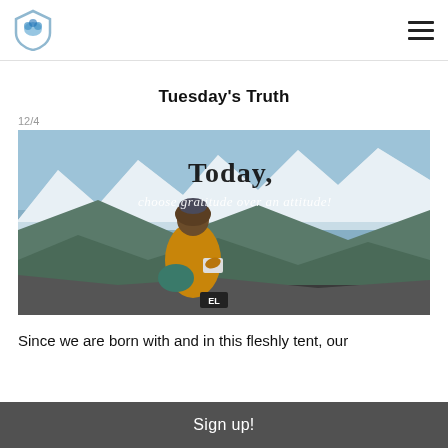Tuesday's Truth — site header with logo and hamburger menu
Tuesday's Truth
12/4
[Figure (photo): Person with curly hair wearing a beanie and yellow jacket, sitting on a rocky mountain summit with snow-capped peaks in the background, writing in a notebook. Overlaid text reads 'Today, choose gratitude over an attitude!' with an 'EL' watermark badge.]
Since we are born with and in this fleshly tent, our
Sign up!